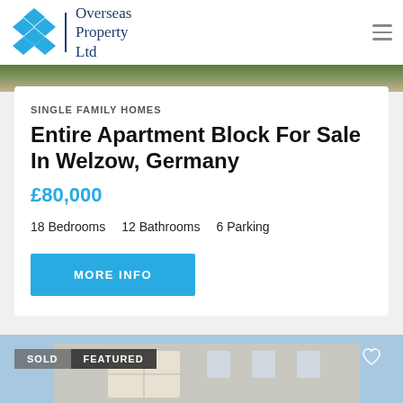Overseas Property Ltd
[Figure (photo): Aerial/exterior photo strip showing grass and rooftop]
SINGLE FAMILY HOMES
Entire Apartment Block For Sale In Welzow, Germany
£80,000
18 Bedrooms   12 Bathrooms   6 Parking
MORE INFO
[Figure (photo): Photo of apartment building exterior, tagged SOLD and FEATURED]